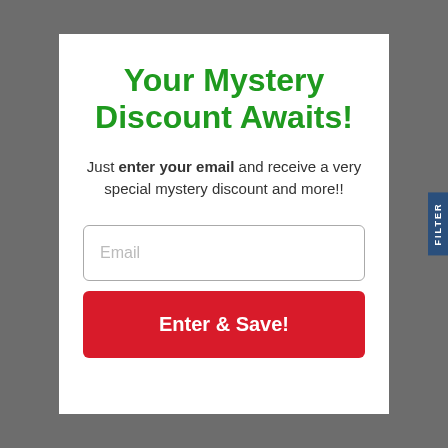Your Mystery Discount Awaits!
Just enter your email and receive a very special mystery discount and more!!
Email
Enter & Save!